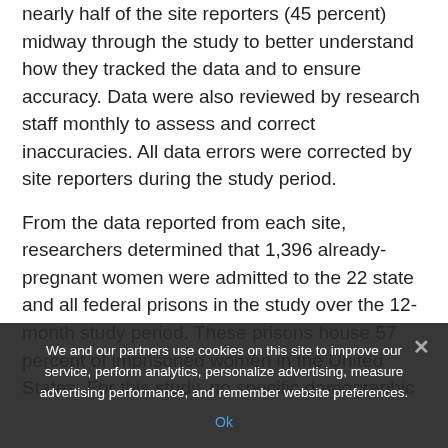nearly half of the site reporters (45 percent) midway through the study to better understand how they tracked the data and to ensure accuracy. Data were also reviewed by research staff monthly to assess and correct inaccuracies. All data errors were corrected by site reporters during the study period.
From the data reported from each site, researchers determined that 1,396 already-pregnant women were admitted to the 22 state and all federal prisons in the study over the 12-month study period. These prisons house 57 percent of imprisoned women in the United States. For this study, no specific demographic
We and our partners use cookies on this site to improve our service, perform analytics, personalize advertising, measure advertising performance, and remember website preferences.
Ok